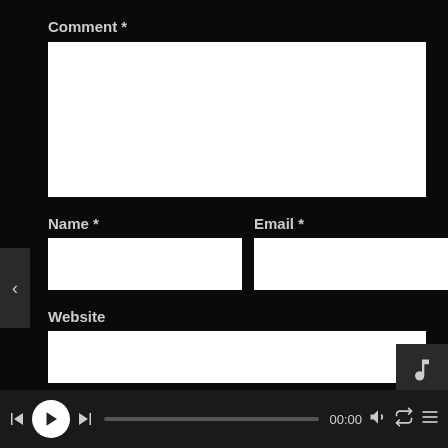Comment *
[Figure (screenshot): White textarea input box for comment field]
Name *
Email *
[Figure (screenshot): White input box for Name field]
[Figure (screenshot): White input box for Email field]
Website
[Figure (screenshot): White input box for Website field]
[Figure (screenshot): Audio player bar with play/pause controls, progress bar, time display 00:00, volume, repeat, and menu icons]